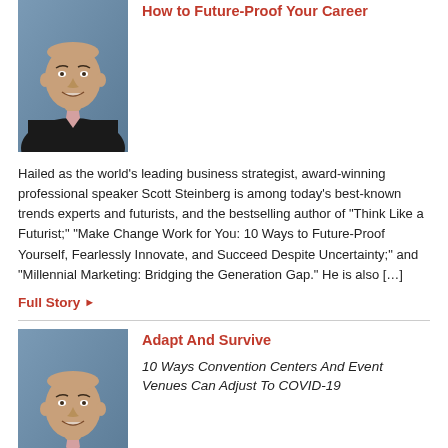How to Future-Proof Your Career
[Figure (photo): Headshot of Scott Steinberg, bald man in dark suit, smiling, blue background]
Hailed as the world’s leading business strategist, award-winning professional speaker Scott Steinberg is among today’s best-known trends experts and futurists, and the bestselling author of “Think Like a Futurist;” “Make Change Work for You: 10 Ways to Future-Proof Yourself, Fearlessly Innovate, and Succeed Despite Uncertainty;” and “Millennial Marketing: Bridging the Generation Gap.” He is also […]
Full Story ▶
Adapt And Survive
[Figure (photo): Headshot of Scott Steinberg, bald man in dark suit, smiling, blue background]
10 Ways Convention Centers And Event Venues Can Adjust To COVID-19
10 ways that meeting and event venues are currently innovating around challenges, creating clever ways to draw audiences back…